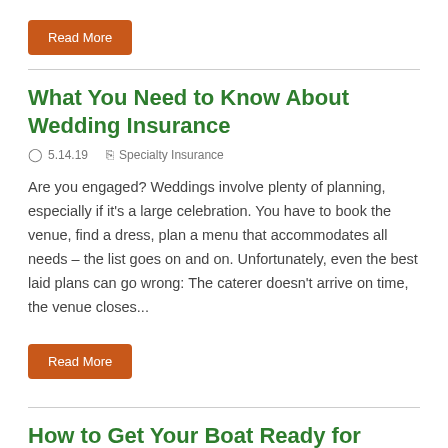Read More
What You Need to Know About Wedding Insurance
5.14.19   Specialty Insurance
Are you engaged? Weddings involve plenty of planning, especially if it's a large celebration. You have to book the venue, find a dress, plan a menu that accommodates all needs – the list goes on and on. Unfortunately, even the best laid plans can go wrong: The caterer doesn't arrive on time, the venue closes...
Read More
How to Get Your Boat Ready for Spring